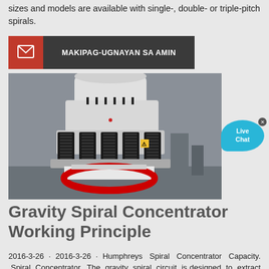sizes and models are available with single-, double- or triple-pitch spirals.
[Figure (infographic): Red and dark grey contact banner with envelope icon and text 'MAKIPAG-UGNAYAN SA AMIN']
[Figure (photo): Industrial machinery - a large white gravity spiral concentrator machine with coil springs and a red circular base component, photographed in a factory or warehouse setting.]
Gravity Spiral Concentrator Working Principle
2016-3-26 · 2016-3-26 · Humphreys Spiral Concentrator Capacity. Spiral Concentrator. The gravity spiral circuit is designed to extract and concentrate "coarse gold" from the